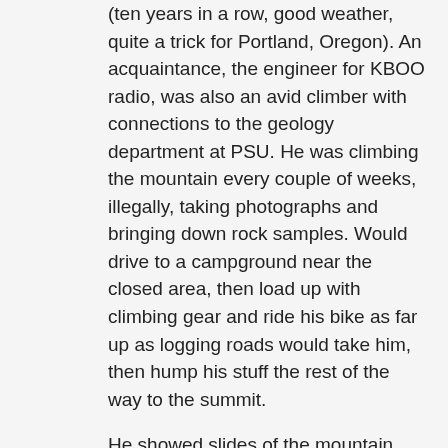(ten years in a row, good weather, quite a trick for Portland, Oregon). An acquaintance, the engineer for KBOO radio, was also an avid climber with connections to the geology department at PSU. He was climbing the mountain every couple of weeks, illegally, taking photographs and bringing down rock samples. Would drive to a campground near the closed area, then load up with climbing gear and ride his bike as far up as logging roads would take him, then hump his stuff the rest of the way to the summit.
He showed slides of the mountain and crater that friday evening, then left that night to sneak in for a morning climb, planning to leave Sunday morning.
He and a buddy camped up on a ridge, outside the closed area, after climbing it Saturday, and that saved them. People died at lower elevation on either side of the ridge. They stopped long enough for a quick snapshot - "hi mom (leaning on ice ax), look at that mountain behind me, with